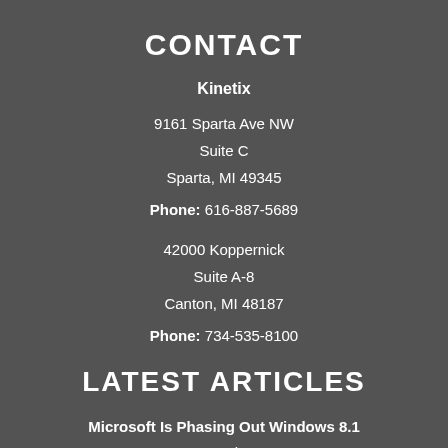CONTACT
Kinetix
9161 Sparta Ave NW
Suite C
Spartia, MI 49345
Phone: 616-887-5689
42000 Koppernick
Suite A-8
Canton, MI 48187
Phone: 734-535-8100
LATEST ARTICLES
Microsoft Is Phasing Out Windows 8.1
August 15th, 2022